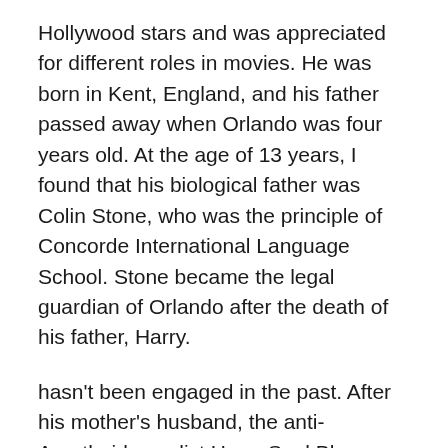Hollywood stars and was appreciated for different roles in movies. He was born in Kent, England, and his father passed away when Orlando was four years old. At the age of 13 years, I found that his biological father was Colin Stone, who was the principle of Concorde International Language School. Stone became the legal guardian of Orlando after the death of his father, Harry.
hasn't been engaged in the past. After his mother's husband, the anti-Apartheid novelist Harry Saul Bloom, died, his mother told him that his real father was family friend Colin Stone. He dated his Elizabethtown co-star Kirsten Dunst in 2005. He had a son named Flynn with model Miranda Kerr, whom he was married to from 2010 to 2013. He